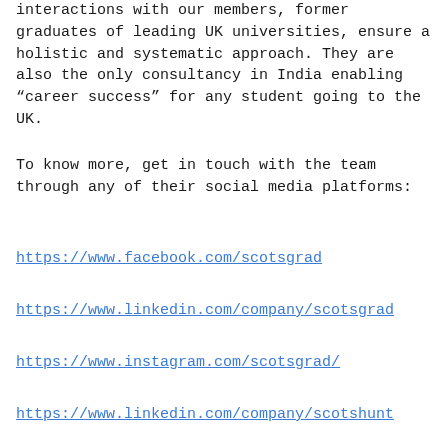interactions with our members, former graduates of leading UK universities, ensure a holistic and systematic approach. They are also the only consultancy in India enabling “career success” for any student going to the UK.
To know more, get in touch with the team through any of their social media platforms:
https://www.facebook.com/scotsgrad
https://www.linkedin.com/company/scotsgrad
https://www.instagram.com/scotsgrad/
https://www.linkedin.com/company/scotshunt